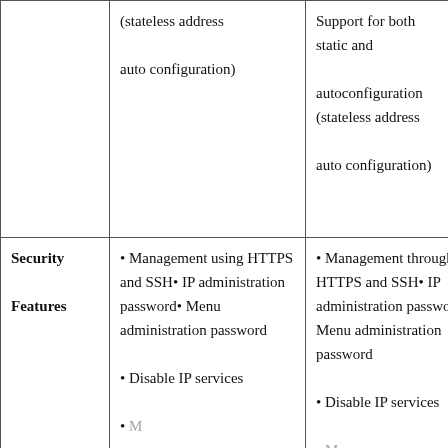|  | (stateless address auto configuration) | Support for both static and autoconfiguration (stateless address auto configuration) |
| Security Features | • Management using HTTPS and SSH• IP administration password• Menu administration password

• Disable IP services | • Management through HTTPS and SSH• IP administration password• Menu administration password

• Disable IP services |